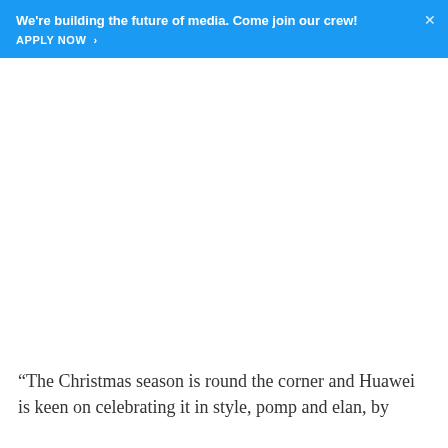We're building the future of media. Come join our crew! APPLY NOW >
“The Christmas season is round the corner and Huawei is keen on celebrating it in style, pomp and elan, by